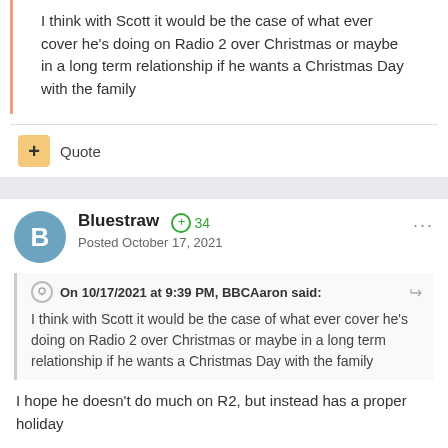I think with Scott it would be the case of what ever cover he's doing on Radio 2 over Christmas or maybe in a long term relationship if he wants a Christmas Day with the family
Quote
Bluestraw +34
Posted October 17, 2021
On 10/17/2021 at 9:39 PM, BBCAaron said:
I think with Scott it would be the case of what ever cover he's doing on Radio 2 over Christmas or maybe in a long term relationship if he wants a Christmas Day with the family
I hope he doesn't do much on R2, but instead has a proper holiday